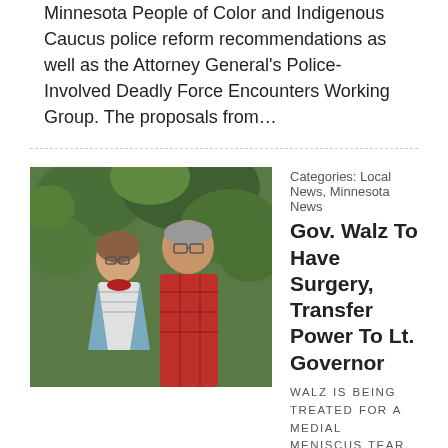Minnesota People of Color and Indigenous Caucus police reform recommendations as well as the Attorney General's Police-Involved Deadly Force Encounters Working Group. The proposals from…
[Figure (photo): Photo of two people — a woman with glasses and a man in a red plaid shirt — standing outdoors with green foliage in background. Likely Gov. Tim Walz and Lt. Gov. Peggy Flanagan.]
Categories: Local News, Minnesota News
Gov. Walz To Have Surgery, Transfer Power To Lt. Governor
WALZ IS BEING TREATED FOR A MEDIAL MENISCUS TEAR, AN INJURY COMMON FOR RUNNERS
June 17, 2019 by TJ Nelson
Tim Walz and Peggy FlanaganST. PAUL, MN — Minnesota Governor Tim Walz has announced that he will have surgery on his left knee on Thursday and transfer power to the Lieutenant Governor. Walz is